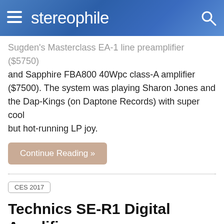stereophile
Sugden's Masterclass EA-1 line preamplifier ($5750) and Sapphire FBA800 40Wpc class-A amplifier ($7500). The system was playing Sharon Jones and the Dap-Kings (on Daptone Records) with super cool but hot-running LP joy.
Continue Reading »
CES 2017
Technics SE-R1 Digital Amplifier
Larry Greenhill | Jan 12, 2017 |
[Figure (photo): Photo of the Technics SE-R1 Digital Amplifier, showing a dark metallic chassis with gold/brass accents]